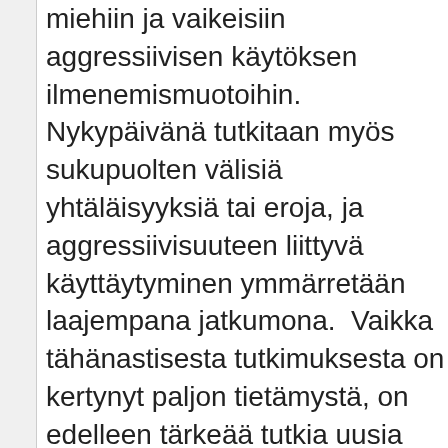miehiin ja vaikeisiin aggressiivisen käytöksen ilmenemismuotoihin. Nykypäivänä tutkitaan myös sukupuolten välisiä yhtäläisyyksiä tai eroja, ja aggressiivisuuteen liittyvä käyttäytyminen ymmärretään laajempana jatkumona.  Vaikka tähänastisesta tutkimuksesta on kertynyt paljon tietämystä, on edelleen tärkeää tutkia uusia biologisia mekanismeja ja erilaisia fenotyyppejä aggression esiintymismuotoja/ilmiasuja heterogeenisen luonteen selvittämiseksi ja uudenlaisten yksilöllisten hoitomuotojen kehittämiseksi. Tämän väitöskirjan tavoitteena oli tuottaa lisätietoa